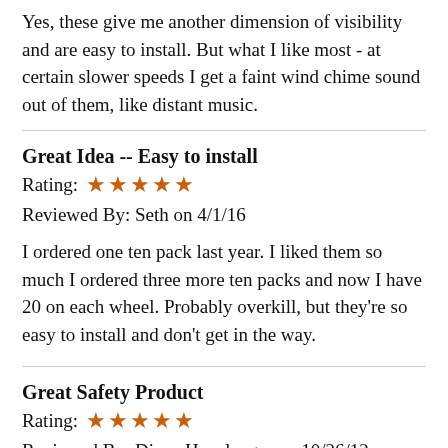Yes, these give me another dimension of visibility and are easy to install. But what I like most - at certain slower speeds I get a faint wind chime sound out of them, like distant music.
Great Idea -- Easy to install
Rating: ★★★★★
Reviewed By: Seth on 4/1/16
I ordered one ten pack last year. I liked them so much I ordered three more ten packs and now I have 20 on each wheel. Probably overkill, but they're so easy to install and don't get in the way.
Great Safety Product
Rating: ★★★★★
Reviewed By: Diane Houslanger on 10/26/12